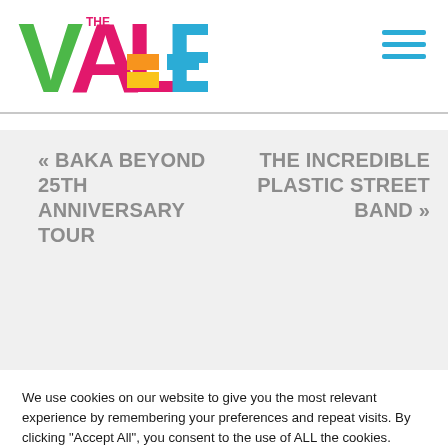[Figure (logo): THE VALE colorful logo with V in green, A in pink/magenta, L with orange and yellow blocks, E in blue/teal]
« BAKA BEYOND 25TH ANNIVERSARY TOUR
THE INCREDIBLE PLASTIC STREET BAND »
We use cookies on our website to give you the most relevant experience by remembering your preferences and repeat visits. By clicking "Accept All", you consent to the use of ALL the cookies. However, you may visit 'Cookie Settings' to provide a controlled consent.